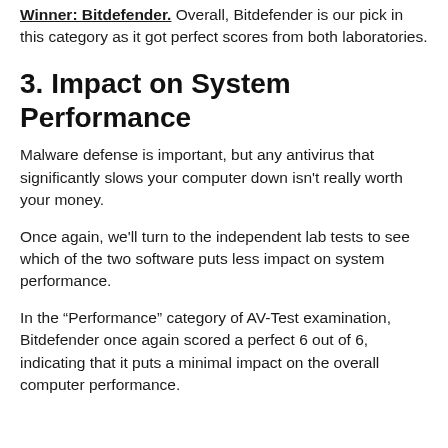Winner: Bitdefender. Overall, Bitdefender is our pick in this category as it got perfect scores from both laboratories.
3. Impact on System Performance
Malware defense is important, but any antivirus that significantly slows your computer down isn't really worth your money.
Once again, we'll turn to the independent lab tests to see which of the two software puts less impact on system performance.
In the “Performance” category of AV-Test examination, Bitdefender once again scored a perfect 6 out of 6, indicating that it puts a minimal impact on the overall computer performance.